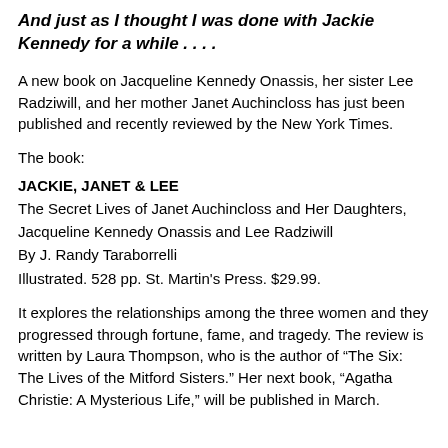And just as I thought I was done with Jackie Kennedy for a while . . . .
A new book on Jacqueline Kennedy Onassis, her sister Lee Radziwill, and her mother Janet Auchincloss has just been published and recently reviewed by the New York Times.
The book:
JACKIE, JANET & LEE
The Secret Lives of Janet Auchincloss and Her Daughters, Jacqueline Kennedy Onassis and Lee Radziwill
By J. Randy Taraborrelli
Illustrated. 528 pp. St. Martin's Press. $29.99.
It explores the relationships among the three women and they progressed through fortune, fame, and tragedy. The review is written by Laura Thompson, who is the author of “The Six: The Lives of the Mitford Sisters.” Her next book, “Agatha Christie: A Mysterious Life,” will be published in March.